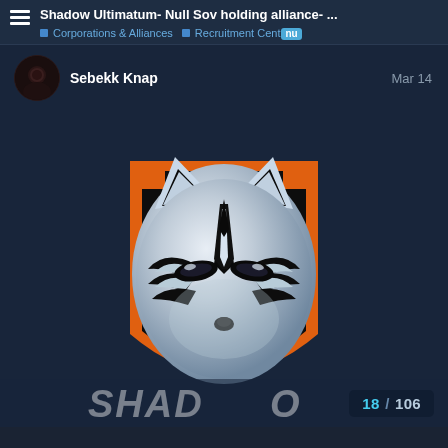Shadow Ultimatum- Null Sov holding alliance- ... | Corporations & Alliances | Recruitment Cente nu
Sebekk Knap   Mar 14
[Figure (logo): Gaming alliance logo: a silver fox/wolf mask with black tribal markings over an orange and black shield shape, with text SHAD partially visible at bottom]
18 / 106